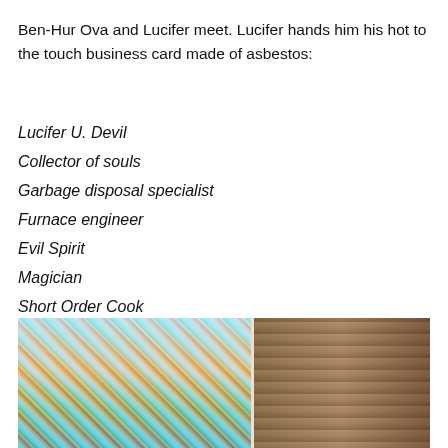Ben-Hur Ova and Lucifer meet. Lucifer hands him his hot to the touch business card made of asbestos:
Lucifer U. Devil
Collector of souls
Garbage disposal specialist
Furnace engineer
Evil Spirit
Magician
Short Order Cook
Undertaker
Caretaker
Takerunder
[Figure (photo): A colorful image split into two sections: left side shows a busy, colorful collage-like scene with various colors (blue, red, green, brown), right side shows a more muted brown/tan textured surface.]